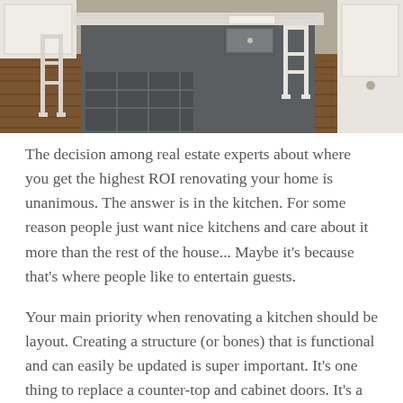[Figure (photo): Photo of a kitchen island with white bar stools, dark gray cabinetry, marble countertop, and hardwood floors]
The decision among real estate experts about where you get the highest ROI renovating your home is unanimous. The answer is in the kitchen. For some reason people just want nice kitchens and care about it more than the rest of the house... Maybe it's because that's where people like to entertain guests.
Your main priority when renovating a kitchen should be layout. Creating a structure (or bones) that is functional and can easily be updated is super important. It's one thing to replace a counter-top and cabinet doors. It's a different story to completely renovate the whole kitchen.
Once you get the structure out of the way, search for